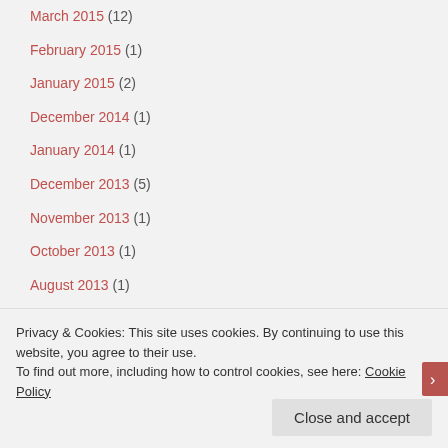March 2015 (12)
February 2015 (1)
January 2015 (2)
December 2014 (1)
January 2014 (1)
December 2013 (5)
November 2013 (1)
October 2013 (1)
August 2013 (1)
July 2013 (2)
June 2013 (1)
Privacy & Cookies: This site uses cookies. By continuing to use this website, you agree to their use. To find out more, including how to control cookies, see here: Cookie Policy
Close and accept